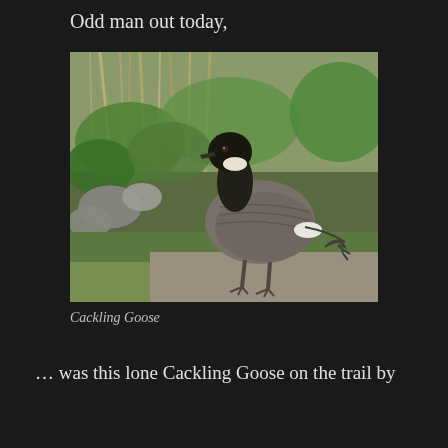Odd man out today,
[Figure (photo): A Cackling Goose standing on a mossy ground path, facing left, with green vegetation and bare wooden sticks in the background and rocks to the left. The bird has a black head and neck with a white chin patch, and brown-gray body plumage.]
Cackling Goose
… was this lone Cackling Goose on the trail by the…